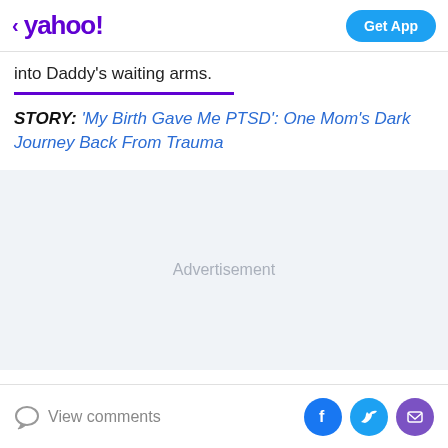yahoo! | Get App
into Daddy's waiting arms.
STORY: 'My Birth Gave Me PTSD': One Mom's Dark Journey Back From Trauma
[Figure (other): Advertisement placeholder block with light gray background]
View comments | Facebook share | Twitter share | Email share